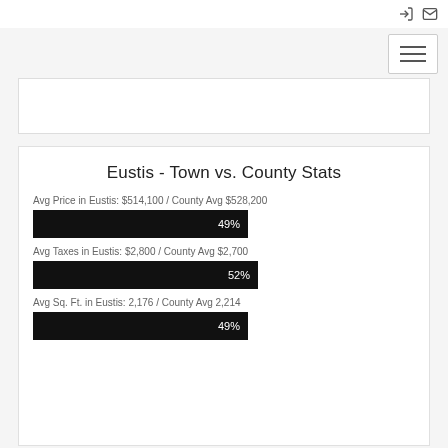[Figure (screenshot): Top navigation bar with login and mail icons, plus hamburger menu button]
Eustis - Town vs. County Stats
Avg Price in Eustis: $514,100 / County Avg $528,200
[Figure (bar-chart): Avg Price percentage]
Avg Taxes in Eustis: $2,800 / County Avg $2,700
[Figure (bar-chart): Avg Taxes percentage]
Avg Sq. Ft. in Eustis: 2,176 / County Avg 2,214
[Figure (bar-chart): Avg Sq Ft percentage]